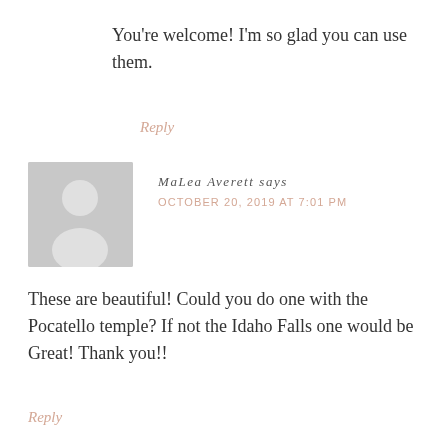You're welcome! I'm so glad you can use them.
Reply
[Figure (illustration): Generic grey avatar placeholder image showing silhouette of a person]
MaLea Averett says
OCTOBER 20, 2019 AT 7:01 PM
These are beautiful! Could you do one with the Pocatello temple? If not the Idaho Falls one would be Great! Thank you!!
Reply